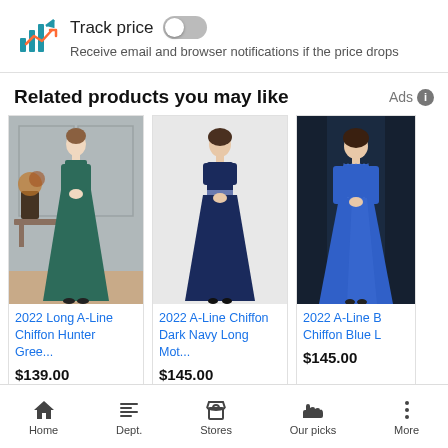Track price — Receive email and browser notifications if the price drops
Related products you may like
[Figure (photo): Model wearing 2022 Long A-Line Chiffon Hunter Green dress]
2022 Long A-Line Chiffon Hunter Gree...
$139.00
[Figure (photo): Model wearing 2022 A-Line Chiffon Dark Navy Long dress]
2022 A-Line Chiffon Dark Navy Long Mot...
$145.00
[Figure (photo): Model wearing 2022 A-Line B Chiffon Blue L dress]
2022 A-Line B Chiffon Blue L
$145.00
Home  Dept.  Stores  Our picks  More